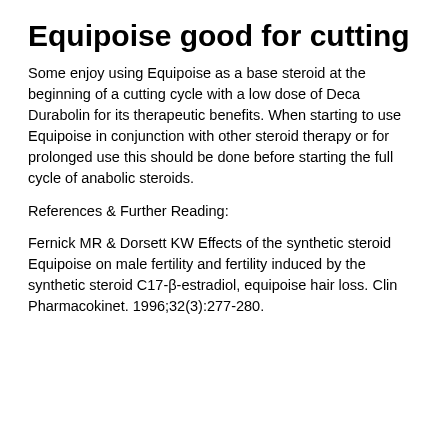Equipoise good for cutting
Some enjoy using Equipoise as a base steroid at the beginning of a cutting cycle with a low dose of Deca Durabolin for its therapeutic benefits. When starting to use Equipoise in conjunction with other steroid therapy or for prolonged use this should be done before starting the full cycle of anabolic steroids.
References & Further Reading:
Fernick MR & Dorsett KW Effects of the synthetic steroid Equipoise on male fertility and fertility induced by the synthetic steroid C17-β-estradiol, equipoise hair loss. Clin Pharmacokinet. 1996;32(3):277-280.